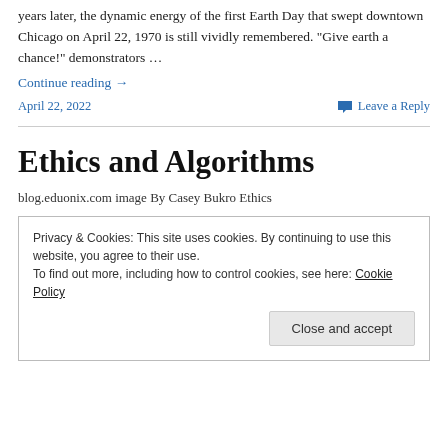years later, the dynamic energy of the first Earth Day that swept downtown Chicago on April 22, 1970 is still vividly remembered. “Give earth a chance!” demonstrators …
Continue reading →
April 22, 2022
Leave a Reply
Ethics and Algorithms
blog.eduonix.com image By Casey Bukro Ethics
Privacy & Cookies: This site uses cookies. By continuing to use this website, you agree to their use.
To find out more, including how to control cookies, see here: Cookie Policy
Close and accept